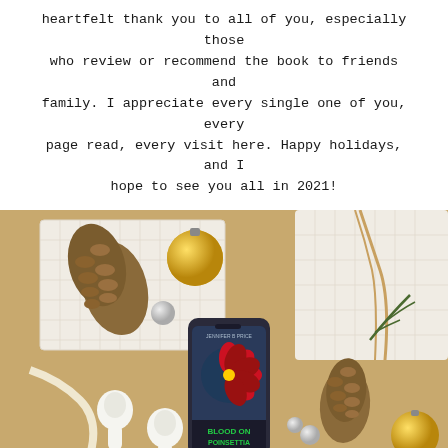heartfelt thank you to all of you, especially those who review or recommend the book to friends and family. I appreciate every single one of you, every page read, every visit here. Happy holidays, and I hope to see you all in 2021!
[Figure (photo): Overhead flat-lay photo of a smartphone displaying a book cover titled 'Blood on Poinsettia' with a red poinsettia flower, surrounded by Christmas decorations including pine cones, gold ornaments, wrapped gift boxes, and white wireless earbuds on a gold/tan background.]
This site uses cookies to assist with navigation, analyse your visit, and assist with our promotional efforts. Accept